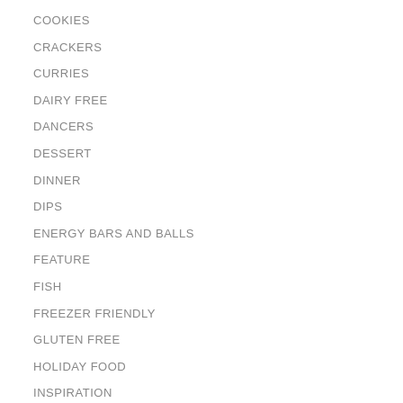COOKIES
CRACKERS
CURRIES
DAIRY FREE
DANCERS
DESSERT
DINNER
DIPS
ENERGY BARS AND BALLS
FEATURE
FISH
FREEZER FRIENDLY
GLUTEN FREE
HOLIDAY FOOD
INSPIRATION
JAMS AND SPREADS